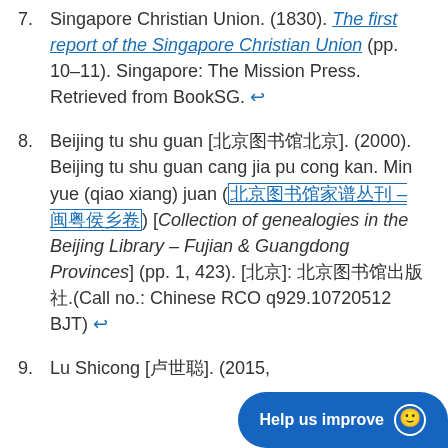7. Singapore Christian Union. (1830). The first report of the Singapore Christian Union (pp. 10–11). Singapore: The Mission Press. Retrieved from BookSG. ↩
8. Beijing tu shu guan [北京图书馆]. (2000). Beijing tu shu guan cang jia pu cong kan. Min yue (qiao xiang) juan (北京图书馆家谱丛刊 – 闽粤侨乡卷) [Collection of genealogies in the Beijing Library – Fujian & Guangdong Provinces] (pp. 1, 423). [北京]: 北京图书馆出版社.(Call no.: Chinese RCO q929.10720512 BJT) ↩
9. Lu Shicong [卢世聪]. (2015,...